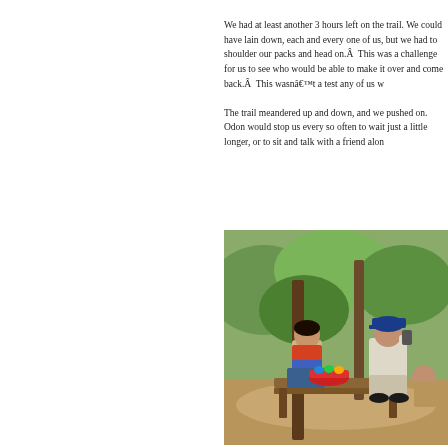We had at least another 3 hours left on the trail. We could have lain down, each and every one of us, but we had to shoulder our packs and head on.Â  This was a challenge for us to see who would be able to make it over and come back.Â  This wasnâ€™t a test any of us w
The trail meandered up and down, and we pushed on. Odon would stop us every so often to wait just a little longer, or to sit and talk with a friend alon
[Figure (photo): Outdoor scene with two people sitting on a wooden bench under trees. A woman in traditional clothing and a man wearing a blue cap. A red bowl with colorful items is on the bench between them. Green vegetation in background.]